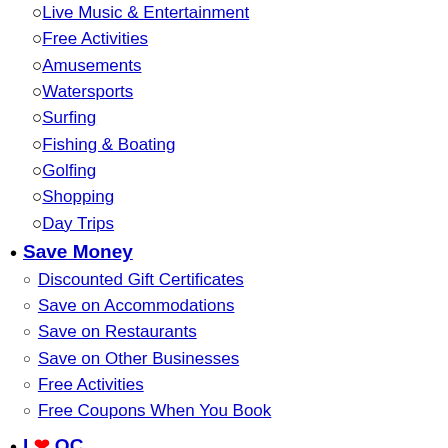Live Music & Entertainment
Free Activities
Amusements
Watersports
Surfing
Fishing & Boating
Golfing
Shopping
Day Trips
Save Money
Discounted Gift Certificates
Save on Accommodations
Save on Restaurants
Save on Other Businesses
Free Activities
Free Coupons When You Book
I ❤ OC
Insider Articles
Pictures
Videos
Webcams
Have a Heart
Best of Ocean City
Best of OC 2015 Winners